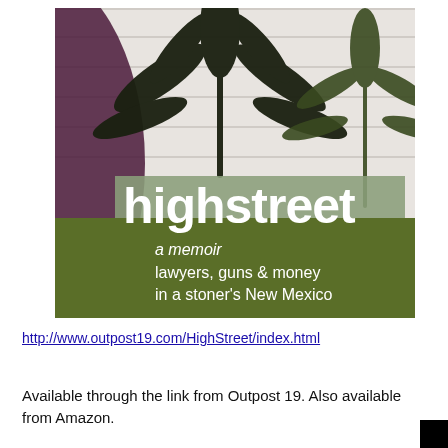[Figure (illustration): Book cover for 'highstreet: a memoir — lawyers, guns & money in a stoner's New Mexico'. Cover shows cannabis leaves against a white wooden background with a dark purple/maroon swoosh on the left side. The title 'highstreet' is in large white bold text on a gray-green background panel. Below is an olive/dark green band with subtitle text in white: 'a memoir' and 'lawyers, guns & money in a stoner's New Mexico'.]
http://www.outpost19.com/HighStreet/index.html
Available through the link from Outpost 19. Also available from Amazon.